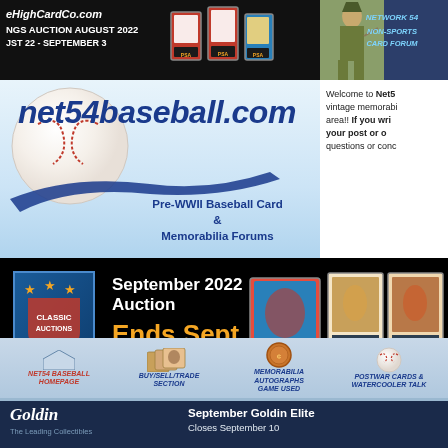[Figure (screenshot): Top dark banner showing HighCardCo.com auction header with graded card images]
[Figure (screenshot): Network 54 Non-Sports Card Forum banner with soldier illustration]
[Figure (logo): net54baseball.com logo with baseball graphic, Pre-WWII Baseball Card & Memorabilia Forums]
Welcome to Net54 vintage memorabilia area!! If you write your post or other questions or conc...
[Figure (screenshot): Classic Auctions September 2022 Auction banner, Ends Sept. 20]
[Figure (screenshot): Navigation section: NET54 BASEBALL HOMEPAGE, BUY/SELL/TRADE SECTION, MEMORABILIA AUTOGRAPHS GAME USED, POSTWAR CARDS & WATERCOOLER TALK]
[Figure (screenshot): Goldin - The Leading Collectibles, September Goldin Elite, Closes September 10]